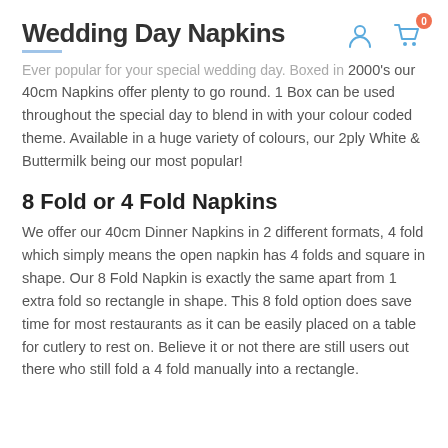Wedding Day Napkins
Ever popular for your special wedding day. Boxed in 2000's our 40cm Napkins offer plenty to go round. 1 Box can be used throughout the special day to blend in with your colour coded theme. Available in a huge variety of colours, our 2ply White & Buttermilk being our most popular!
8 Fold or 4 Fold Napkins
We offer our 40cm Dinner Napkins in 2 different formats, 4 fold which simply means the open napkin has 4 folds and square in shape. Our 8 Fold Napkin is exactly the same apart from 1 extra fold so rectangle in shape. This 8 fold option does save time for most restaurants as it can be easily placed on a table for cutlery to rest on. Believe it or not there are still users out there who still fold a 4 fold manually into a rectangle.